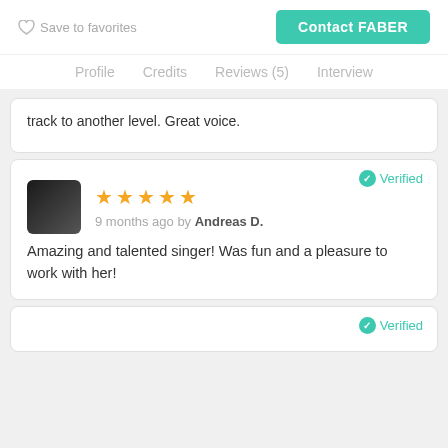Save to favorites
Contact FABER
Profile   Credits   Reviews (5)   Interview
track to another level. Great voice.
Verified
★★★★★ 9 months ago by Andreas D.
Amazing and talented singer! Was fun and a pleasure to work with her!
Verified